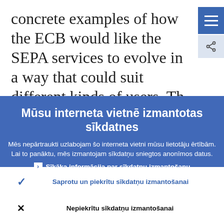concrete examples of how the ECB would like the SEPA services to evolve in a way that could suit different kinds of users. The general direction of moving away from
Mūsu interneta vietnē izmantotas sīkdatnes
Mēs nepārtraukti uzlabojam šo interneta vietni mūsu lietotāju ērtībām. Lai to panāktu, mēs izmantojam sīkdatņu sniegtos anonīmos datus.
› Sīkāka informācija par sīkdatņu izmantošanu
✓ Saprotu un piekrītu sīkdatņu izmantošanai
✕ Nepiekrītu sīkdatņu izmantošanai